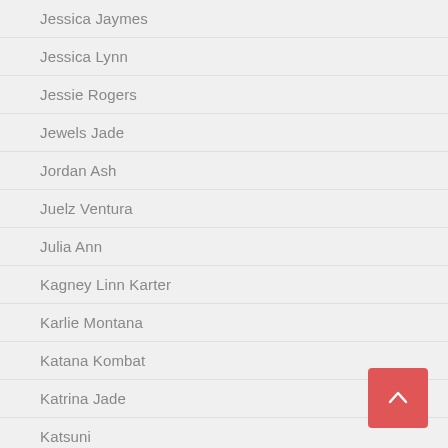Jessica Jaymes
Jessica Lynn
Jessie Rogers
Jewels Jade
Jordan Ash
Juelz Ventura
Julia Ann
Kagney Linn Karter
Karlie Montana
Katana Kombat
Katrina Jade
Katsuni
Kayla Kayden
Keisha Grey